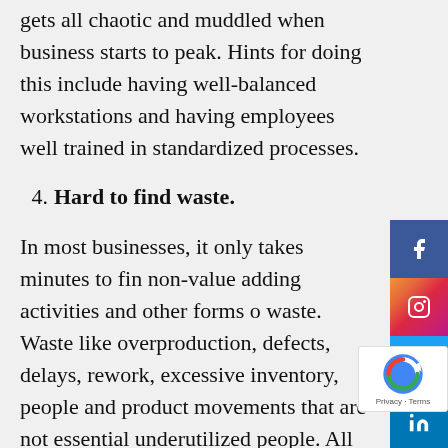gets all chaotic and muddled when business starts to peak. Hints for doing this include having well-balanced workstations and having employees well trained in standardized processes.
4. Hard to find waste.
In most businesses, it only takes minutes to find non-value adding activities and other forms of waste. Waste like overproduction, defects, delays, rework, excessive inventory, people and product movements that are not essential, underutilized people. All of this waste costs money and usually causes you to have worse